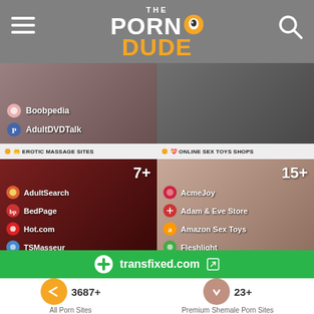THE PORN DUDE - navigation header with logo, hamburger menu, and search icon
[Figure (screenshot): Left image card showing a woman in a dark bra with site listings: Boobpedia, AdultDVDTalk]
[Figure (screenshot): Right image card showing legs/feet in black and white]
🤲 EROTIC MASSAGE SITES
💝 ONLINE SEX TOYS SHOPS
[Figure (screenshot): Erotic massage sites card with 7+ count, listing: AdultSearch, BedPage, Hot.com, TSMasseur]
[Figure (screenshot): Online sex toys shops card with 15+ count, listing: AcmeJoy, Adam & Eve Store, Amazon Sex Toys, Fleshlight]
transfixed.com
3687+
All Porn Sites
23+
Premium Shemale Porn Sites